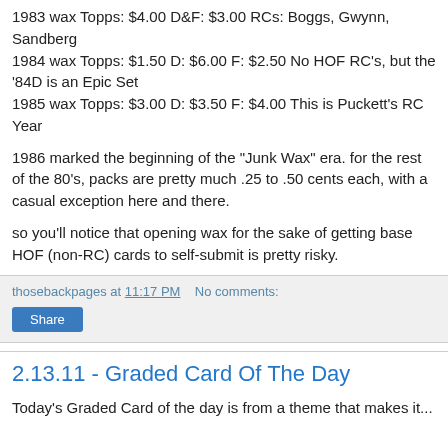1983 wax Topps: $4.00 D&F: $3.00 RCs: Boggs, Gwynn, Sandberg
1984 wax Topps: $1.50 D: $6.00 F: $2.50 No HOF RC's, but the '84D is an Epic Set
1985 wax Topps: $3.00 D: $3.50 F: $4.00 This is Puckett's RC Year
1986 marked the beginning of the "Junk Wax" era. for the rest of the 80's, packs are pretty much .25 to .50 cents each, with a casual exception here and there.
so you'll notice that opening wax for the sake of getting base HOF (non-RC) cards to self-submit is pretty risky.
thosebackpages at 11:17 PM   No comments:
Share
2.13.11 - Graded Card Of The Day
Today's Graded Card of the day is from a theme that makes it...